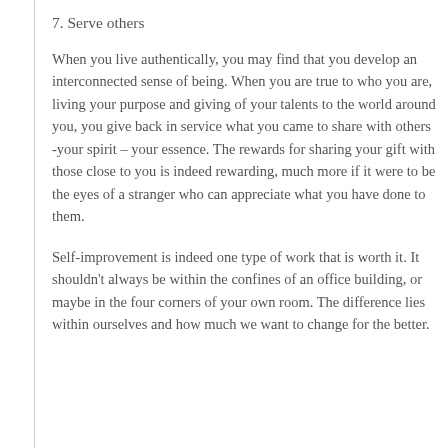7. Serve others
When you live authentically, you may find that you develop an interconnected sense of being. When you are true to who you are, living your purpose and giving of your talents to the world around you, you give back in service what you came to share with others -your spirit – your essence. The rewards for sharing your gift with those close to you is indeed rewarding, much more if it were to be the eyes of a stranger who can appreciate what you have done to them.
Self-improvement is indeed one type of work that is worth it. It shouldn't always be within the confines of an office building, or maybe in the four corners of your own room. The difference lies within ourselves and how much we want to change for the better.